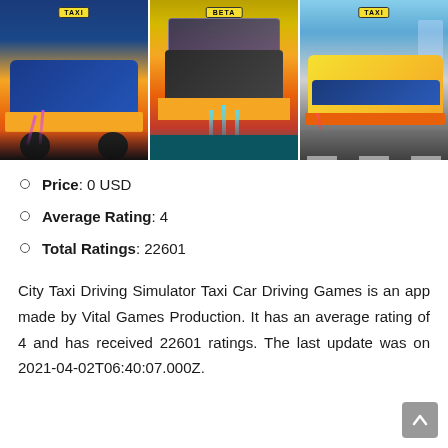[Figure (screenshot): Three side-by-side screenshots from City Taxi Driving Simulator game showing yellow/orange taxi cars with TAXI signs on top, racing on tracks with colored light effects]
Price: 0 USD
Average Rating: 4
Total Ratings: 22601
City Taxi Driving Simulator Taxi Car Driving Games is an app made by Vital Games Production. It has an average rating of 4 and has received 22601 ratings. The last update was on 2021-04-02T06:40:07.000Z.